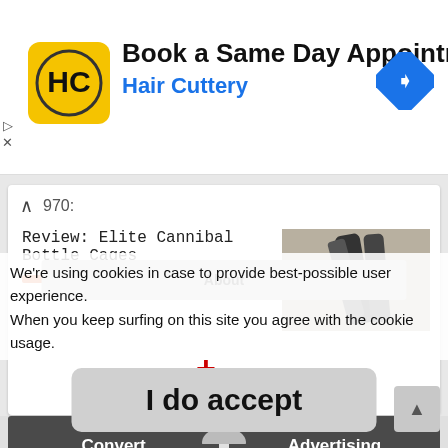[Figure (screenshot): Advertisement banner for Hair Cuttery with logo and navigation icon. Text: Book a Same Day Appointment / Hair Cuttery]
[Figure (screenshot): Collapsed content card showing '970:' year label, thumbnail image of bottle cages, title 'Review: Elite Cannibal Bottle Cages', orange minus bar, red plus button]
[Figure (screenshot): Navigation grid with dark grey buttons: Convert, Advertising, FAQ, Contact, About]
We're using cookies in case to provide best-possible user experience. When you keep surfing on this site you agree with the cookie usage.
I do accept